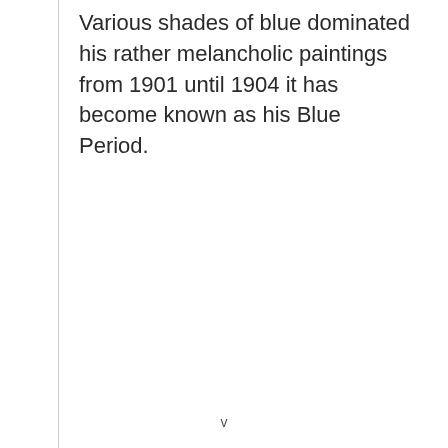Various shades of blue dominated his rather melancholic paintings from 1901 until 1904 it has become known as his Blue Period.
v